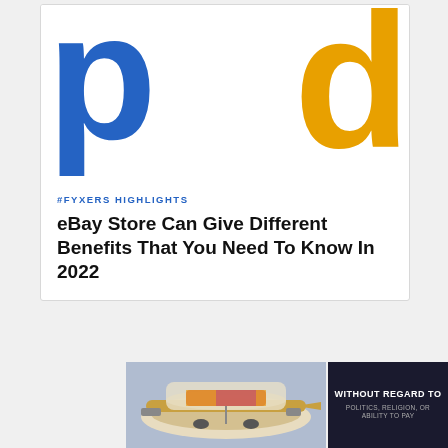[Figure (illustration): Large blue letter 'p' and golden/yellow letter 'd' on white background forming a logo-style graphic]
#FYXERS HIGHLIGHTS
eBay Store Can Give Different Benefits That You Need To Know In 2022
[Figure (photo): Advertisement banner showing an airplane being loaded with cargo, with text 'WITHOUT REGARD TO POLITICS, RELIGION, OR ABILITY TO PAY' on dark background]